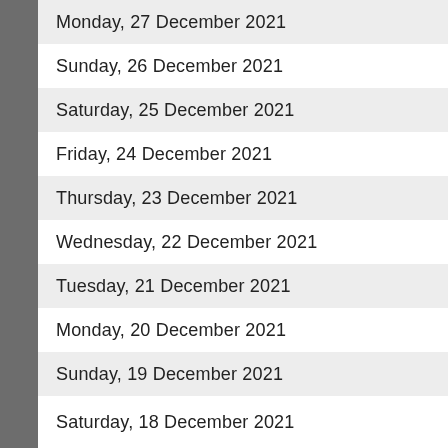Monday, 27 December 2021
Sunday, 26 December 2021
Saturday, 25 December 2021
Friday, 24 December 2021
Thursday, 23 December 2021
Wednesday, 22 December 2021
Tuesday, 21 December 2021
Monday, 20 December 2021
Sunday, 19 December 2021
Saturday, 18 December 2021